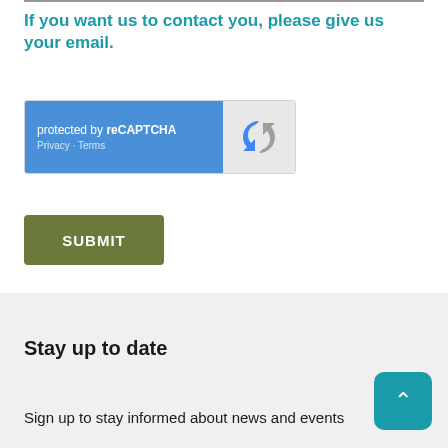If you want us to contact you, please give us your email.
[Figure (screenshot): reCAPTCHA widget with blue left panel showing 'protected by reCAPTCHA' and 'Privacy · Terms' links, and gray right panel with reCAPTCHA logo]
SUBMIT
Stay up to date
Sign up to stay informed about news and events